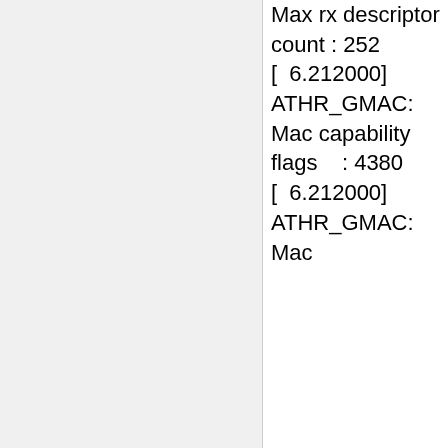Max rx descriptor count : 252
[ 6.212000] ATHR_GMAC: Mac capability flags    : 4380
[ 6.212000] ATHR_GMAC: Mac